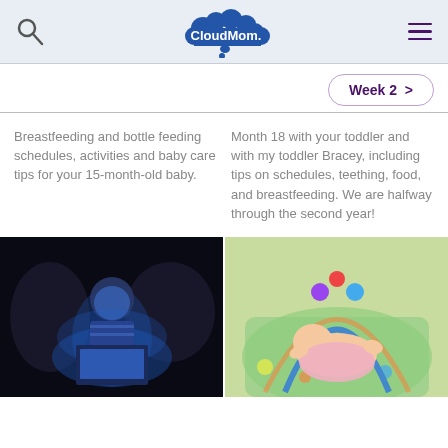CloudMom.
Week 2 >
Breastfeeding and bottle feeding schedules, activities and baby care tips for your 15-month-old baby.
Month 18 with your toddler and with my toddler Bracey, including tips on schedules, teething, food, and breastfeeding. We are halfway through the second year!
[Figure (photo): Child lying in dark room, face illuminated by blue laptop screen glow]
[Figure (photo): Baby lying on colorful activity mat with hanging toys]